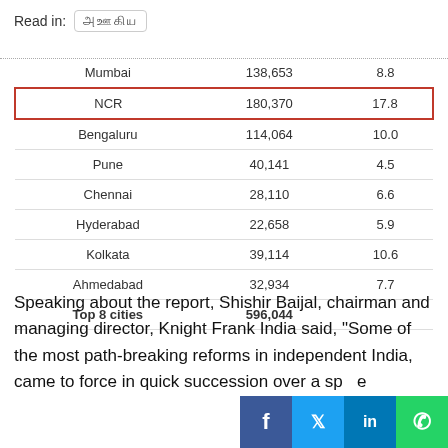Read in:
| Mumbai | 138,653 | 8.8 |
| NCR | 180,370 | 17.8 |
| Bengaluru | 114,064 | 10.0 |
| Pune | 40,141 | 4.5 |
| Chennai | 28,110 | 6.6 |
| Hyderabad | 22,658 | 5.9 |
| Kolkata | 39,114 | 10.6 |
| Ahmedabad | 32,934 | 7.7 |
| Top 8 cities | 596,044 |  |
Speaking about the report, Shishir Baijal, chairman and managing director, Knight Frank India said, “Some of the most path-breaking reforms in independent India, came to force in quick succession over a sp[ot]e[r]...